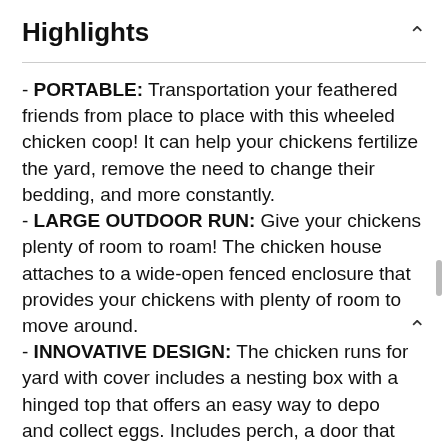Highlights
- PORTABLE: Transportation your feathered friends from place to place with this wheeled chicken coop! It can help your chickens fertilize the yard, remove the need to change their bedding, and more constantly.
- LARGE OUTDOOR RUN: Give your chickens plenty of room to roam! The chicken house attaches to a wide-open fenced enclosure that provides your chickens with plenty of room to move around.
- INNOVATIVE DESIGN: The chicken runs for yard with cover includes a nesting box with a hinged top that offers an easy way to depo and collect eggs. Includes perch, a door that acts as a ramp, and side slots that allow for